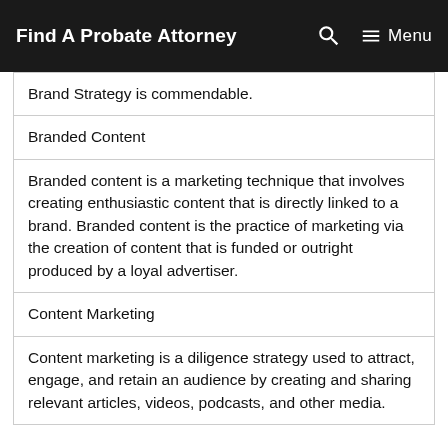Find A Probate Attorney
Brand Strategy is commendable.
Branded Content
Branded content is a marketing technique that involves creating enthusiastic content that is directly linked to a brand. Branded content is the practice of marketing via the creation of content that is funded or outright produced by a loyal advertiser.
Content Marketing
Content marketing is a diligence strategy used to attract, engage, and retain an audience by creating and sharing relevant articles, videos, podcasts, and other media.